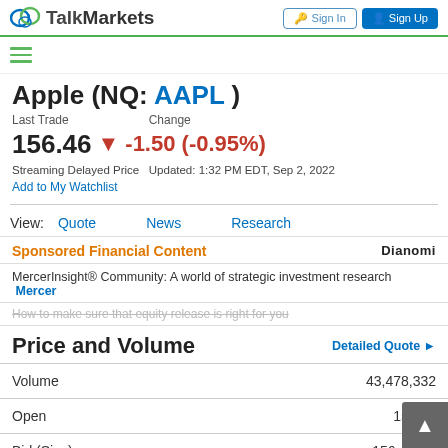TalkMarkets — Sign In | Sign Up
Apple (NQ: AAPL)
Last Trade   Change
156.46 ▼ -1.50 (-0.95%)
Streaming Delayed Price  Updated: 1:32 PM EDT, Sep 2, 2022
Add to My Watchlist
View:  Quote   News   Research
Sponsored Financial Content   Dianomi
MercerInsight® Community: A world of strategic investment research  Mercer
How to make sure that equity release is right for you
Price and Volume
Detailed Quote ▶
|  |  |
| --- | --- |
| Volume | 43,478,332 |
| Open | 159.75 |
| Bid (Size) | 156.44 (6) |